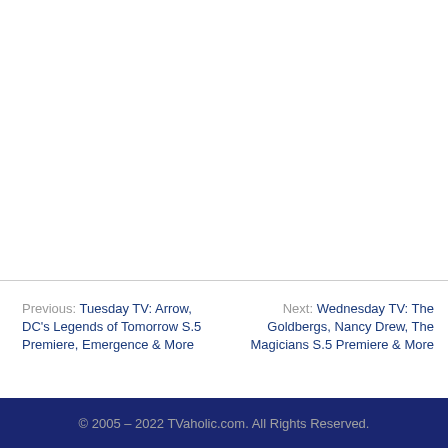Previous: Tuesday TV: Arrow, DC's Legends of Tomorrow S.5 Premiere, Emergence & More
Next: Wednesday TV: The Goldbergs, Nancy Drew, The Magicians S.5 Premiere & More
© 2005 – 2022 TVaholic.com. All Rights Reserved.